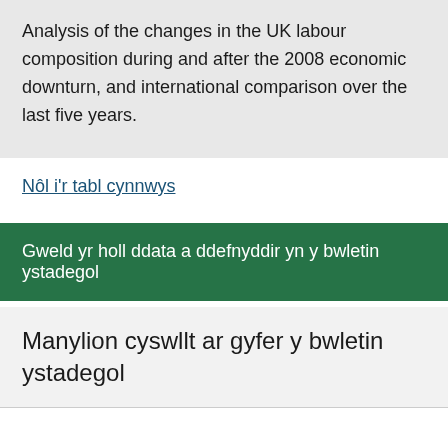Analysis of the changes in the UK labour composition during and after the 2008 economic downturn, and international comparison over the last five years.
Nôl i'r tabl cynnwys
Gweld yr holl ddata a ddefnyddir yn y bwletin ystadegol
Manylion cyswllt ar gyfer y bwletin ystadegol